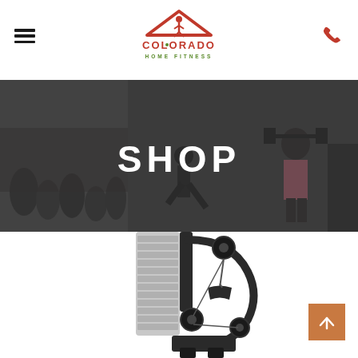[Figure (logo): Colorado Home Fitness logo with running figure under a house roof shape, orange and green colors, text 'COLORADO HOME FITNESS']
SHOP
[Figure (photo): Hero banner with dark overlay showing people exercising/working out in a gym/outdoor setting]
[Figure (photo): Partial image of a gym cable machine/functional trainer, black metal equipment]